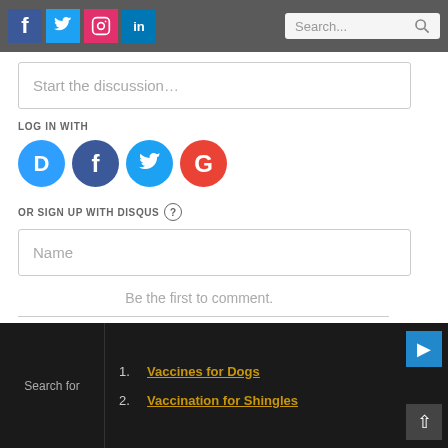Social media icons (Facebook, Twitter, Instagram, LinkedIn) and Search bar
Start the discussion…
LOG IN WITH
[Figure (logo): Login icons: Disqus (D), Facebook (f), Twitter bird, Google (G)]
OR SIGN UP WITH DISQUS ?
Name
Be the first to comment.
Search for
1. Vaccines for Dogs
2. Vaccination for Shingles